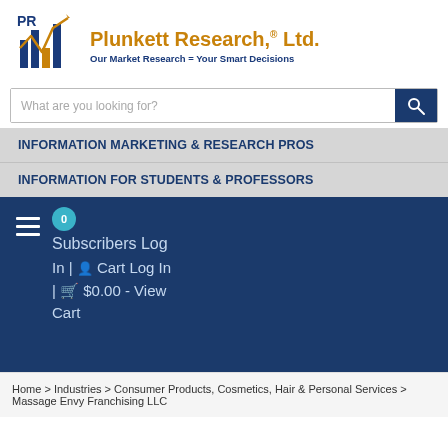[Figure (logo): Plunkett Research Ltd. logo with bar chart and line graph icon in blue/gold]
Plunkett Research,® Ltd.
Our Market Research = Your Smart Decisions
What are you looking for?
INFORMATION MARKETING & RESEARCH PROS
INFORMATION FOR STUDENTS & PROFESSORS
0
Subscribers Log In | Cart Log In | $0.00 - View Cart
Home > Industries > Consumer Products, Cosmetics, Hair & Personal Services > Massage Envy Franchising LLC